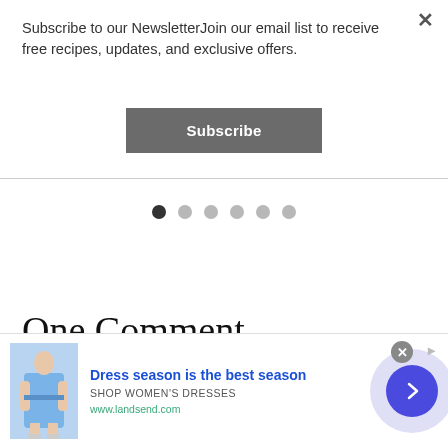Subscribe to our NewsletterJoin our email list to receive free recipes, updates, and exclusive offers.
[Figure (other): Subscribe button (dark gray rounded rectangle with white bold text 'Subscribe')]
[Figure (other): Horizontal rule divider line]
[Figure (other): Carousel dots: 6 dots, first one dark/active, rest light gray]
One Comment
[Figure (other): Advertisement banner: woman in blue dress, 'Dress season is the best season', 'SHOP WOMEN'S DRESSES', 'www.landsend.com', with blue arrow button]